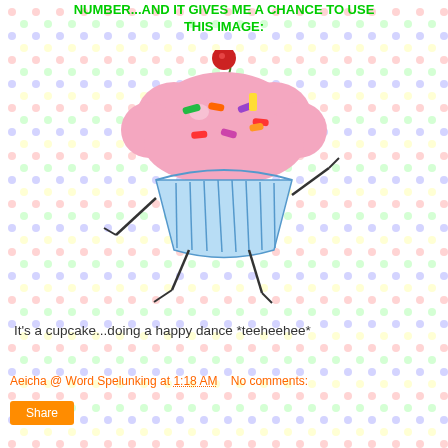NUMBER...AND IT GIVES ME A CHANCE TO USE THIS IMAGE:
[Figure (illustration): A cartoon cupcake with pink frosting, colorful sprinkles, a red cherry on top, and blue striped cupcake wrapper, animated with stick arms and legs doing a happy dance]
It's a cupcake...doing a happy dance *teeheehee*
Aeicha @ Word Spelunking at 1:18 AM    No comments:
Share